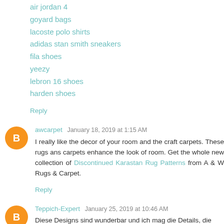air jordan 4
goyard bags
lacoste polo shirts
adidas stan smith sneakers
fila shoes
yeezy
lebron 16 shoes
harden shoes
Reply
awcarpet January 18, 2019 at 1:15 AM
I really like the decor of your room and the craft carpets. These rugs ans carpets enhance the look of room. Get the whole new collection of Discontinued Karastan Rug Patterns from A & W Rugs & Carpet.
Reply
Teppich-Expert January 25, 2019 at 10:46 AM
Diese Designs sind wunderbar und ich mag die Details, die